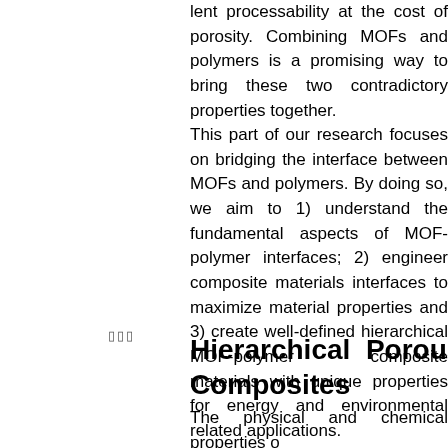lent processability at the cost of porosity. Combining MOFs and polymers is a promising way to bring these two contradictory properties together. This part of our research focuses on bridging the interface between MOFs and polymers. By doing so, we aim to 1) understand the fundamental aspects of MOF-polymer interfaces; 2) engineer composite materials interfaces to maximize material properties and 3) create well-defined hierarchical MOF-polymer composite materials with unique properties for energy and environmental related applications.
Hierarchical Porous Composites
The physical and chemical properties o